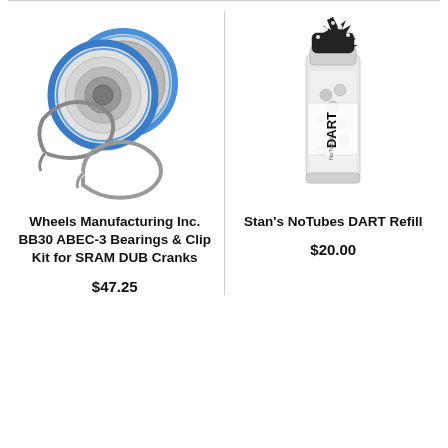[Figure (photo): Two blue-sealed ball bearings and two snap/clip rings (Wheels Manufacturing Inc. BB30 ABEC-3 Bearings & Clip Kit for SRAM DUB Cranks)]
Wheels Manufacturing Inc. BB30 ABEC-3 Bearings & Clip Kit for SRAM DUB Cranks
$47.25
[Figure (photo): A clear tube/cylinder containing Stan's NoTubes DART Refill product with black label and small spherical items inside]
Stan's NoTubes DART Refill
$20.00